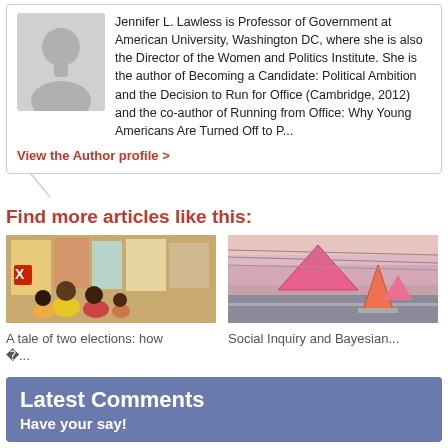Jennifer L. Lawless is Professor of Government at American University, Washington DC, where she is also the Director of the Women and Politics Institute. She is the author of Becoming a Candidate: Political Ambition and the Decision to Run for Office (Cambridge, 2012) and the co-author of Running from Office: Why Young Americans Are Turned Off to P...
View the Author profile >
Find more articles like this:
[Figure (photo): People looking at election posters on a wall]
A tale of two elections: how �...
[Figure (photo): Pink/red triangular road signs against a hazy sky]
Social Inquiry and Bayesian...
Latest Comments
Have your say!